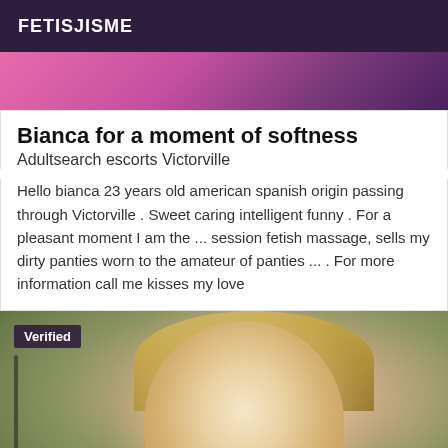FETISJISME
[Figure (photo): Pink and purple abstract/boudoir image cropped at top]
Bianca for a moment of softness
Adultsearch escorts Victorville
Hello bianca 23 years old american spanish origin passing through Victorville . Sweet caring intelligent funny . For a pleasant moment I am the ... session fetish massage, sells my dirty panties worn to the amateur of panties ... . For more information call me kisses my love
[Figure (photo): Portrait photo of a blonde woman smiling, with Verified badge overlay]